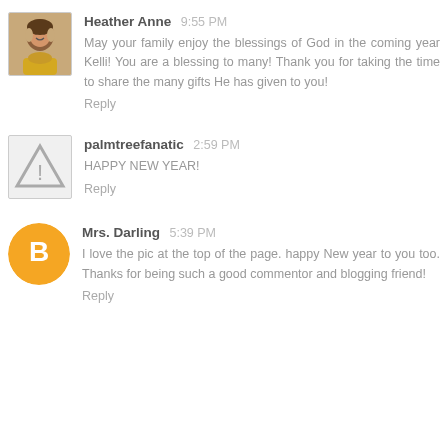[Figure (photo): Avatar photo of Heather Anne, a woman with dark curly hair]
Heather Anne 9:55 PM
May your family enjoy the blessings of God in the coming year Kelli! You are a blessing to many! Thank you for taking the time to share the many gifts He has given to you!
Reply
[Figure (illustration): Generic avatar icon with a warning triangle symbol]
palmtreefanatic 2:59 PM
HAPPY NEW YEAR!
Reply
[Figure (illustration): Orange circle avatar with letter B inside]
Mrs. Darling 5:39 PM
I love the pic at the top of the page. happy New year to you too. Thanks for being such a good commentor and blogging friend!
Reply